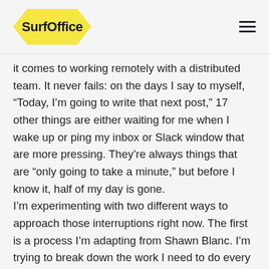SurfOffice
it comes to working remotely with a distributed team. It never fails: on the days I say to myself, "Today, I'm going to write that next post," 17 other things are either waiting for me when I wake up or ping my inbox or Slack window that are more pressing. They're always things that are "only going to take a minute," but before I know it, half of my day is gone.
I'm experimenting with two different ways to approach those interruptions right now. The first is a process I'm adapting from Shawn Blanc. I'm trying to break down the work I need to do every day into real, achievable steps (i.e. "write the two middle sections of the post on X" as opposed to "work on blog post") and then write down the three most important things to do that day. C...